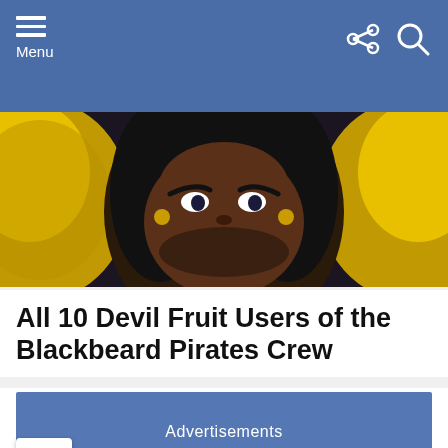Menu
[Figure (illustration): Anime illustration of Blackbeard (Marshall D. Teach) from One Piece, showing a large dark-skinned man with black hair, gold teeth grin, open mouth, wearing yellow clothing, against a dark background with yellow dragon/creature elements]
All 10 Devil Fruit Users of the Blackbeard Pirates Crew
Advertisements
Advertising